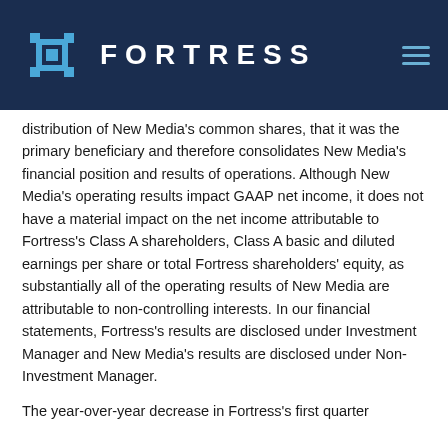[Figure (logo): Fortress Investment Group logo: blue diamond/cross geometric icon with the word FORTRESS in white spaced capitals on a dark navy background header bar]
distribution of New Media's common shares, that it was the primary beneficiary and therefore consolidates New Media's financial position and results of operations. Although New Media's operating results impact GAAP net income, it does not have a material impact on the net income attributable to Fortress's Class A shareholders, Class A basic and diluted earnings per share or total Fortress shareholders' equity, as substantially all of the operating results of New Media are attributable to non-controlling interests. In our financial statements, Fortress's results are disclosed under Investment Manager and New Media's results are disclosed under Non-Investment Manager.
The year-over-year decrease in Fortress's first quarter